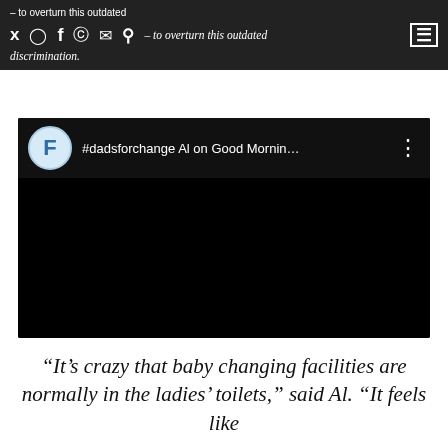– to overturn this outdated discrimination
[Figure (screenshot): Embedded YouTube video player showing '#dadsforchange Al on Good Mornin...' with channel icon featuring letter F on blue background, three-dot menu icon visible, video content area is black/unloaded]
“It’s crazy that baby changing facilities are normally in the ladies’ toilets,” said Al. “It feels like